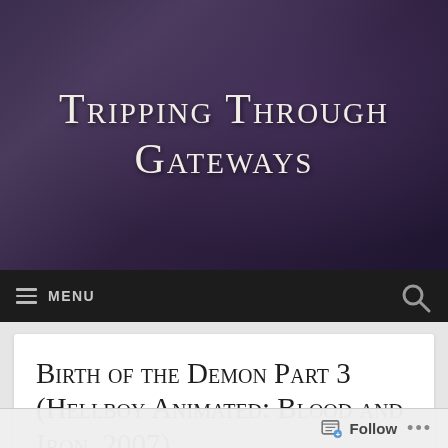Tripping Through Gateways
MENU
Birth of the Demon Part 3 (Hellboy Animated: Blood and Iron, 2007)
[Figure (illustration): Animated scene showing a dark-skinned character figure against a warm golden/tan background, with a white triangular shape in the upper left corner of the image.]
Follow ...